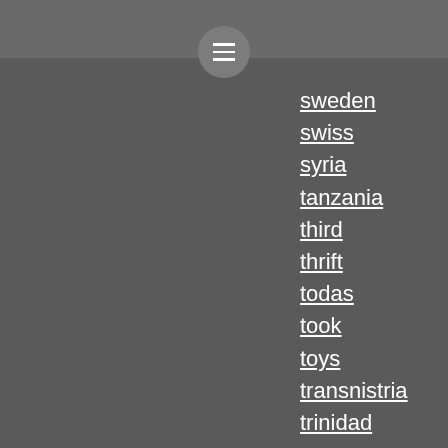sweden
swiss
syria
tanzania
third
thrift
todas
took
toys
transnistria
trinidad
tunisia
turkey
uber-mirrored
ud83dudd342017